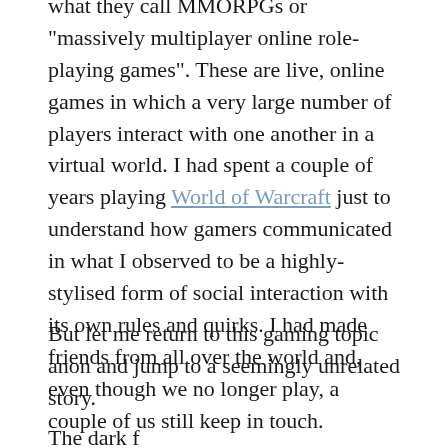what they call MMORPGs or "massively multiplayer online role-playing games". These are live, online games in which a very large number of players interact with one another in a virtual world. I had spent a couple of years playing World of Warcraft just to understand how gamers communicated in what I observed to be a highly-stylised form of social interaction with its own rules and quirks. I had made friends from all over the world and, even though we no longer play, a couple of us still keep in touch.
But let me return to this gaming topic anon and jump to a seemingly unrelated story.
The dark of our...